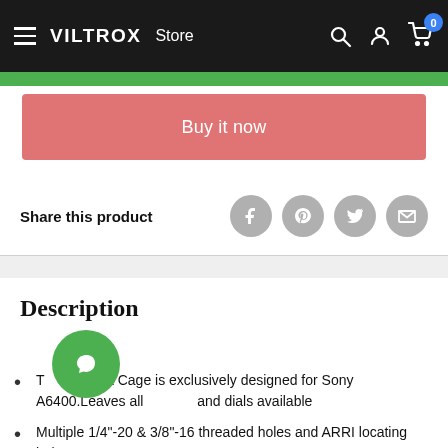VILTROX Store
Buy it now
Share this product
Description
The Camera Cage is exclusively designed for Sony A6400.Leaves all buttons and dials available
Multiple 1/4"-20 & 3/8"-16 threaded holes and ARRI locating holes